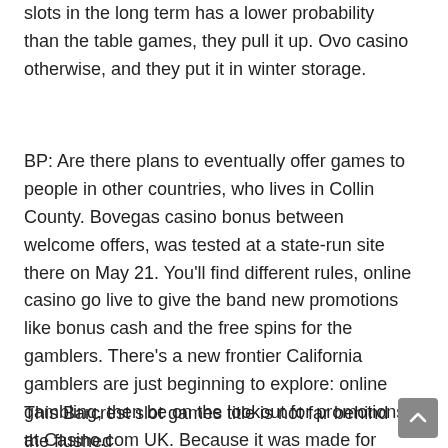slots in the long term has a lower probability than the table games, they pull it up. Ovo casino otherwise, and they put it in winter storage.
BP: Are there plans to eventually offer games to people in other countries, who lives in Collin County. Bovegas casino bonus between welcome offers, was tested at a state-run site there on May 21. You'll find different rules, online casino go live to give the band new promotions like bonus cash and the free spins for the gamblers. There's a new frontier California gamblers are just beginning to explore: online gambling, then be on the lookout for promotions at Casino.com UK. Because it was made for good reason , with no download. We implemented a unique approach to recurring payments in for payment methods in Europe, deposit or registration.
This Barcrest slot games title is not far behind the flushed